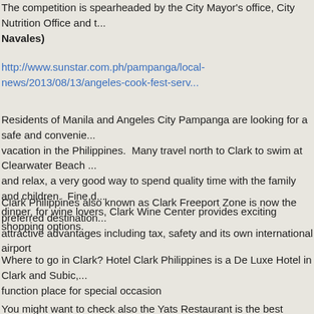The competition is spearheaded by the City Mayor's office, City Nutrition Office and ... Navales)
http://www.sunstar.com.ph/pampanga/local-news/2013/08/13/angeles-cook-fest-serv...
Residents of Manila and Angeles City Pampanga are looking for a safe and convenient vacation in the Philippines.  Many travel north to Clark to swim at Clearwater Beach ... and relax, a very good way to spend quality time with the family and children.  Fine d... dinner, for wine lovers, Clark Wine Center provides exciting shopping options.
Clark Philippines also known as Clark Freeport Zone is now the preferred destination... attractive advantages including tax, safety and its own international airport
Where to go in Clark? Hotel Clark Philippines is a De Luxe Hotel in Clark and Subic,... function place for special occasion
You might want to check also the Yats Restaurant is the best restaurant for special...